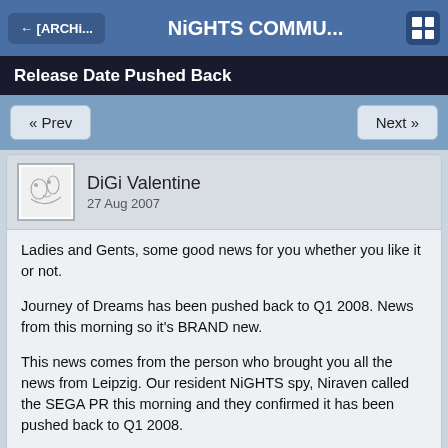← [ARCHi...    NiGHTS COMMU...
Release Date Pushed Back
« Prev    Next »
DiGi Valentine
27 Aug 2007
Ladies and Gents, some good news for you whether you like it or not.
Journey of Dreams has been pushed back to Q1 2008. News from this morning so it's BRAND new.
This news comes from the person who brought you all the news from Leipzig. Our resident NiGHTS spy, Niraven called the SEGA PR this morning and they confirmed it has been pushed back to Q1 2008.
Here's what Niraven told me in a recent message -
Quote